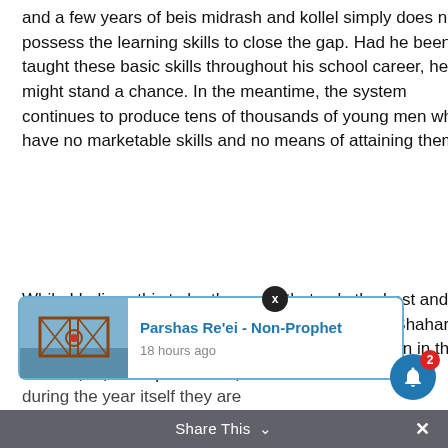and a few years of beis midrash and kollel simply does not possess the learning skills to close the gap. Had he been taught these basic skills throughout his school career, he might stand a chance. In the meantime, the system continues to produce tens of thousands of young men who have no marketable skills and no means of attaining them
While I believe this to be the case (that only the best and brightest are accepted) in regards to the air force Shahar option, I personally spoke to the head of registration in the Ono Charedi campus and I can state
[Figure (screenshot): Popup card showing 'Parshas Re'ei - Non-Prophet' article link with thumbnail image, 18 hours ago timestamp, and a close (X) button. Overlaid with a blue notification bell icon showing badge count of 2.]
d me that for here is a e... a short prep course for their pre-Academic track, and during the year itself they are
Share This